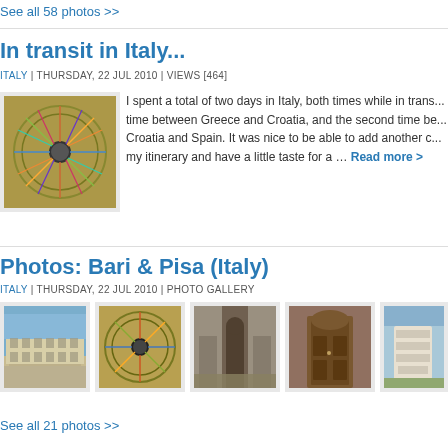See all 58 photos >>
In transit in Italy...
ITALY | THURSDAY, 22 JUL 2010 | VIEWS [464]
[Figure (photo): Close-up photo of a bicycle wheel with colorful spokes]
I spent a total of two days in Italy, both times while in trans... time between Greece and Croatia, and the second time be... Croatia and Spain. It was nice to be able to add another c... my itinerary and have a little taste for a ... Read more >
Photos: Bari & Pisa (Italy)
ITALY | THURSDAY, 22 JUL 2010 | PHOTO GALLERY
[Figure (photo): Photo gallery row showing 5 thumbnail images of Bari and Pisa Italy]
See all 21 photos >>